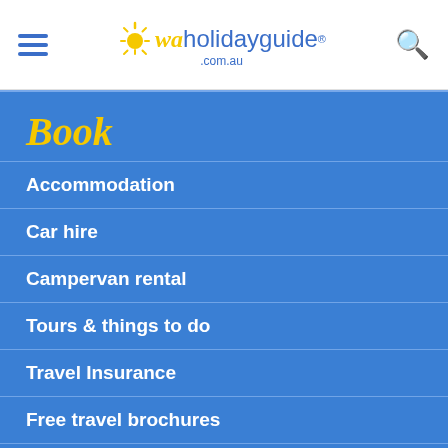waholidayguide .com.au
Book
Accommodation
Car hire
Campervan rental
Tours & things to do
Travel Insurance
Free travel brochures
Advertise
Advertise With Us